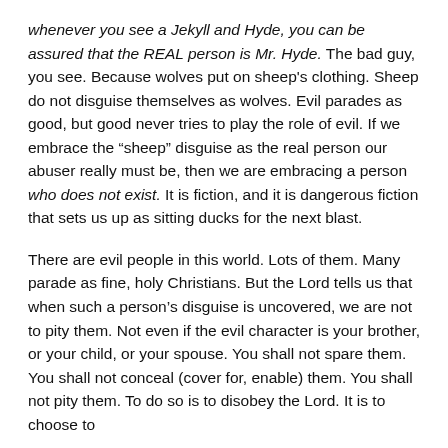whenever you see a Jekyll and Hyde, you can be assured that the REAL person is Mr. Hyde. The bad guy, you see. Because wolves put on sheep's clothing. Sheep do not disguise themselves as wolves. Evil parades as good, but good never tries to play the role of evil. If we embrace the “sheep” disguise as the real person our abuser really must be, then we are embracing a person who does not exist. It is fiction, and it is dangerous fiction that sets us up as sitting ducks for the next blast.
There are evil people in this world. Lots of them. Many parade as fine, holy Christians. But the Lord tells us that when such a person’s disguise is uncovered, we are not to pity them. Not even if the evil character is your brother, or your child, or your spouse. You shall not spare them. You shall not conceal (cover for, enable) them. You shall not pity them. To do so is to disobey the Lord. It is to choose to